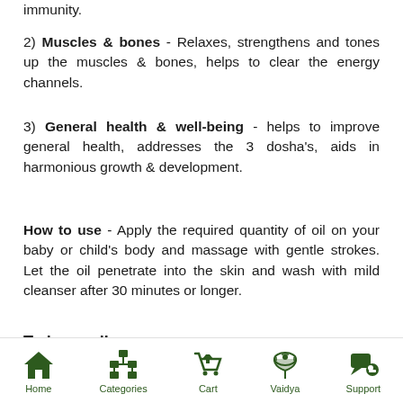immunity.
2) Muscles & bones - Relaxes, strengthens and tones up the muscles & bones, helps to clear the energy channels.
3) General health & well-being - helps to improve general health, addresses the 3 dosha's, aids in harmonious growth & development.
How to use - Apply the required quantity of oil on your baby or child's body and massage with gentle strokes. Let the oil penetrate into the skin and wash with mild cleanser after 30 minutes or longer.
To buy online
Home  Categories  Cart  Vaidya  Support